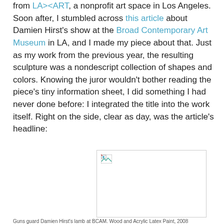from LA><ART, a nonprofit art space in Los Angeles. Soon after, I stumbled across this article about Damien Hirst's show at the Broad Contemporary Art Museum in LA, and I made my piece about that. Just as my work from the previous year, the resulting sculpture was a nondescript collection of shapes and colors. Knowing the juror wouldn't bother reading the piece's tiny information sheet, I did something I had never done before: I integrated the title into the work itself. Right on the side, clear as day, was the article's headline:
[Figure (photo): Broken image placeholder with small image icon in top-left corner, bordered rectangle]
Guns guard Damien Hirst's lamb at BCAM. Wood and Acrylic Latex Paint, 2008